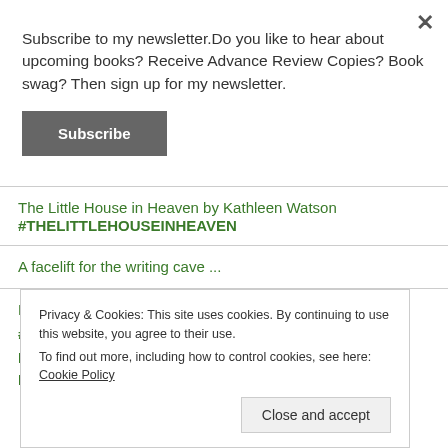Subscribe to my newsletter.Do you like to hear about upcoming books? Receive Advance Review Copies? Book swag? Then sign up for my newsletter.
Subscribe
The Little House in Heaven by Kathleen Watson #THELITTLEHOUSEINHEAVEN
A facelift for the writing cave ...
Marsali Taylor brings you A Shetland Winter Mystery
Privacy & Cookies: This site uses cookies. By continuing to use this website, you agree to their use.
To find out more, including how to control cookies, see here: Cookie Policy
Close and accept